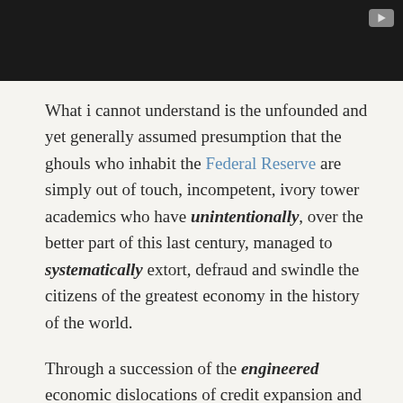[Figure (screenshot): Dark video player bar with a play button icon in the top right corner]
What i cannot understand is the unfounded and yet generally assumed presumption that the ghouls who inhabit the Federal Reserve are simply out of touch, incompetent, ivory tower academics who have unintentionally, over the better part of this last century, managed to systematically extort, defraud and swindle the citizens of the greatest economy in the history of the world.
Through a succession of the engineered economic dislocations of credit expansion and contraction, controlled and abetted by manipulative fiscal and monetary policy and concomitant imperial wars of aggression and social repression, the central economic